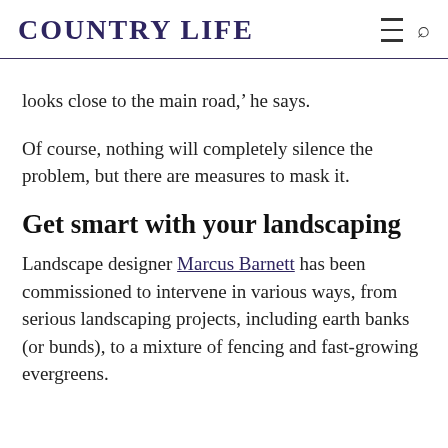COUNTRY LIFE
looks close to the main road,' he says.
Of course, nothing will completely silence the problem, but there are measures to mask it.
Get smart with your landscaping
Landscape designer Marcus Barnett has been commissioned to intervene in various ways, from serious landscaping projects, including earth banks (or bunds), to a mixture of fencing and fast-growing evergreens.